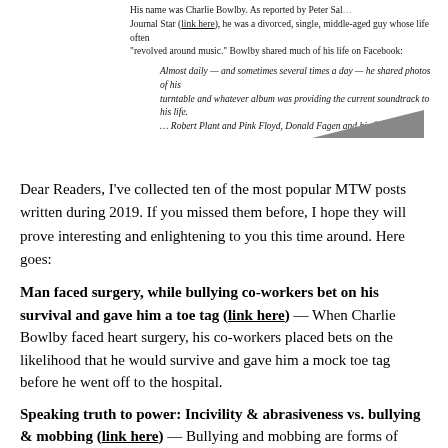[Figure (screenshot): Screenshot of a blog/article excerpt with italic text about Charlie Bowlby sharing music on Facebook, partially obscured by a diagonal dark bar at the bottom right.]
Dear Readers, I've collected ten of the most popular MTW posts written during 2019. If you missed them before, I hope they will prove interesting and enlightening to you this time around. Here goes:
Man faced surgery, while bullying co-workers bet on his survival and gave him a toe tag (link here) — When Charlie Bowlby faced heart surgery, his co-workers placed bets on the likelihood that he would survive and gave him a mock toe tag before he went off to the hospital.
Speaking truth to power: Incivility & abrasiveness vs. bullying & mobbing (link here) — Bullying and mobbing are forms of abuse, not bad manners, and we should treat them accordingly.
Workplace bullying, DARVO, and aggressors claiming victim status (link here) — Dr. Jennifer Freyd's conceptualization of DARVO — Deny, Attack, and Reverse Victim and Offender — applies to many workplace bullying and mobbing situations.